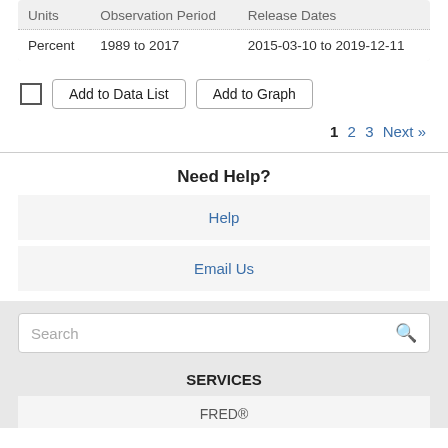| Units | Observation Period | Release Dates |
| --- | --- | --- |
| Percent | 1989 to 2017 | 2015-03-10 to 2019-12-11 |
Add to Data List | Add to Graph
1 2 3 Next »
Need Help?
Help
Email Us
Search
SERVICES
FRED®